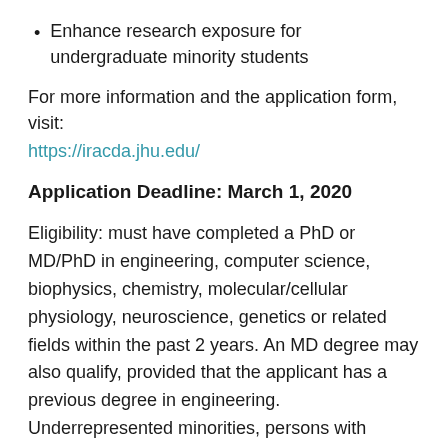Enhance research exposure for undergraduate minority students
For more information and the application form, visit: https://iracda.jhu.edu/
Application Deadline: March 1, 2020
Eligibility: must have completed a PhD or MD/PhD in engineering, computer science, biophysics, chemistry, molecular/cellular physiology, neuroscience, genetics or related fields within the past 2 years. An MD degree may also qualify, provided that the applicant has a previous degree in engineering. Underrepresented minorities, persons with disability, and women are encouraged to apply. Program research areas include Biomedical Imaging Sciences, Regenerative and Immune Engineering, Genome and Epigenome Engineering, Molecular and Cellular Systems Biology, Cardiovascular